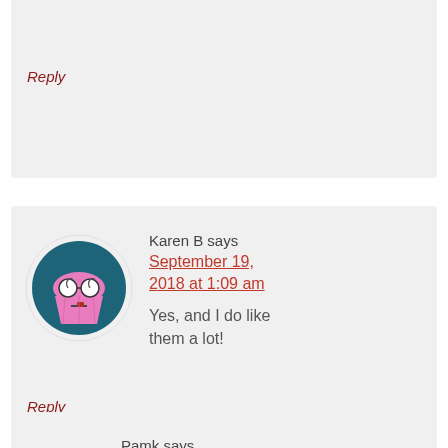Reply
[Figure (illustration): Cartoon avatar of Karen B: a pink cupcake-shaped character with swirly glasses on a dark teal circular background]
Karen B says
September 19, 2018 at 1:09 am
Yes, and I do like them a lot!
Reply
Pamk says